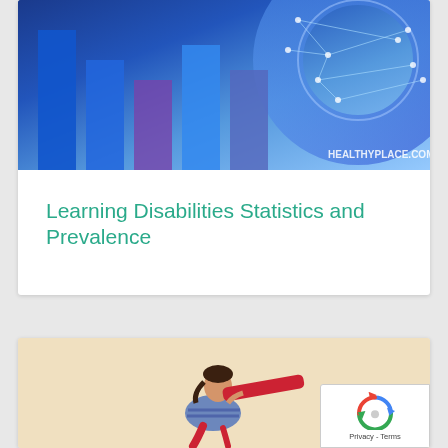[Figure (illustration): Bar chart and network graph data visualization image with blue tones, branded with HEALTHYPLACE.COM watermark in lower right corner]
Learning Disabilities Statistics and Prevalence
[Figure (photo): Child lying on floor holding a large red telescope/tube up to look through it, against a light beige background]